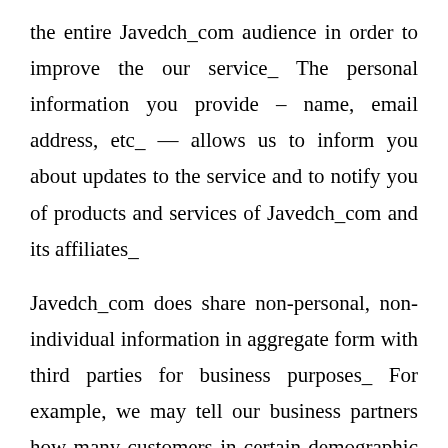the entire Javedch_com audience in order to improve the our service_ The personal information you provide – name, email address, etc_ — allows us to inform you about updates to the service and to notify you of products and services of Javedch_com and its affiliates_
Javedch_com does share non-personal, non-individual information in aggregate form with third parties for business purposes_ For example, we may tell our business partners how many customers in certain demographic groups sent certain cards_